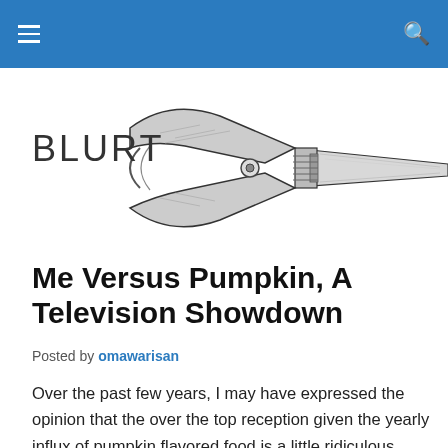BLURT
[Figure (illustration): Illustration of a mechanical wrench/clamp tool with a long handle extending to the right, drawn in black and white ink style. The word BLURT appears to the left of the tool head.]
Me Versus Pumpkin, A Television Showdown
Posted by omawarisan
Over the past few years, I may have expressed the opinion that the over the top reception given the yearly influx of pumpkin flavored food is a little ridiculous. Soon, my thoughts on the matter will reach more people than